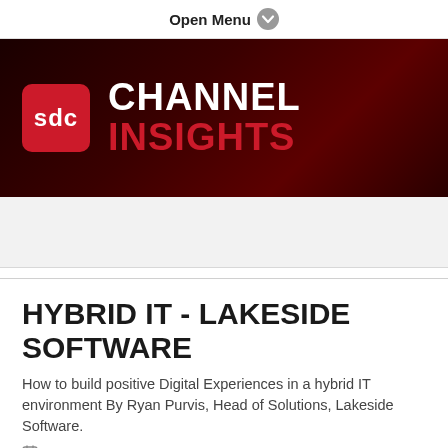Open Menu
[Figure (logo): SDC Channel Insights logo on dark red/maroon banner background. Red square with 'SDC' text, followed by 'CHANNEL' in white bold and 'INSIGHTS' in red bold.]
HYBRID IT - LAKESIDE SOFTWARE
How to build positive Digital Experiences in a hybrid IT environment By Ryan Purvis, Head of Solutions, Lakeside Software.
4 months ago · Posted in